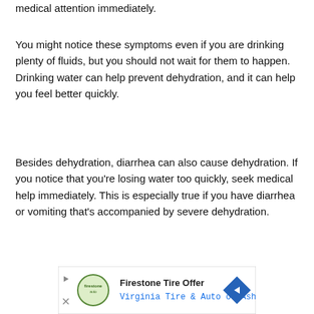medical attention immediately.
You might notice these symptoms even if you are drinking plenty of fluids, but you should not wait for them to happen. Drinking water can help prevent dehydration, and it can help you feel better quickly.
Besides dehydration, diarrhea can also cause dehydration. If you notice that you're losing water too quickly, seek medical help immediately. This is especially true if you have diarrhea or vomiting that's accompanied by severe dehydration.
[Figure (infographic): Advertisement banner for Firestone Tire Offer - Virginia Tire & Auto of Ashburn, with logo circle, play button, close button, and navigation arrow diamond.]